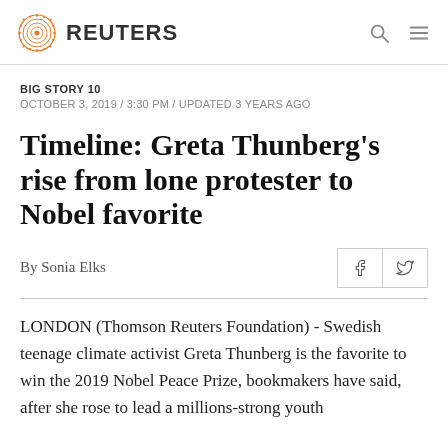REUTERS
BIG STORY 10
OCTOBER 3, 2019 / 3:30 PM / UPDATED 3 YEARS AGO
Timeline: Greta Thunberg's rise from lone protester to Nobel favorite
By Sonia Elks
LONDON (Thomson Reuters Foundation) - Swedish teenage climate activist Greta Thunberg is the favorite to win the 2019 Nobel Peace Prize, bookmakers have said, after she rose to lead a millions-strong youth